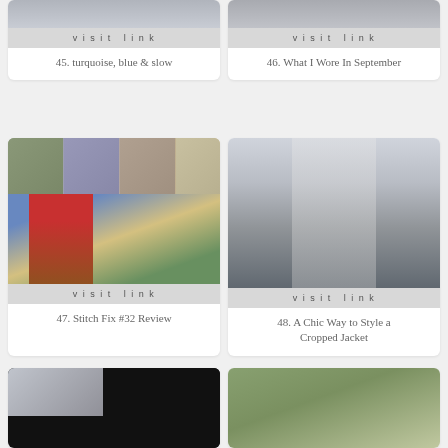[Figure (photo): Partial top of card 45 - visit link bar visible]
45. turquoise, blue & slow
[Figure (photo): Partial top of card 46 - visit link bar visible]
46. What I Wore In September
[Figure (photo): Card 47 - collage of fashion photos and woman in blue cardigan near red barn with flowers]
47. Stitch Fix #32 Review
[Figure (photo): Card 48 - woman in chic cropped houndstooth jacket and black pants standing outside building]
48. A Chic Way to Style a Cropped Jacket
[Figure (photo): Card 49 - partially visible, shows jeans and white sneakers with black area]
[Figure (photo): Card 50 - partially visible, woman in blue patterned top standing near tree in park]